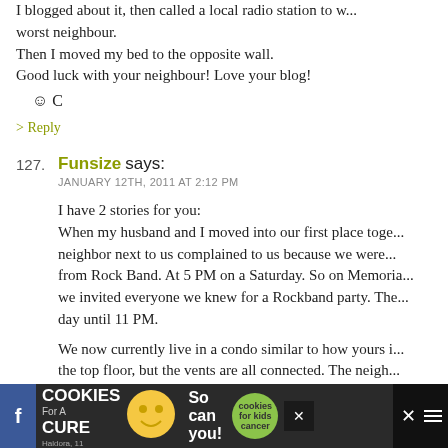I blogged about it, then called a local radio station to w... worst neighbour.
Then I moved my bed to the opposite wall.
Good luck with your neighbour! Love your blog!
☺ C
> Reply
127. Funsize says:
JANUARY 12TH, 2011 AT 2:12 PM
I have 2 stories for you:
When my husband and I moved into our first place toge... neighbor next to us complained to us because we were... from Rock Band. At 5 PM on a Saturday. So on Memoria... we invited everyone we knew for a Rockband party. The... day until 11 PM.
We now currently live in a condo similar to how yours i... the top floor, but the vents are all connected. The neigh... a college aged son (We're 24 so we're college aged, but h...
[Figure (other): Advertisement banner at bottom: I Bake COOKIES For A CURE - Haldora, 11 Cancer Survivor - So can you! - cookies for kids cancer badge - close button - social media icons]